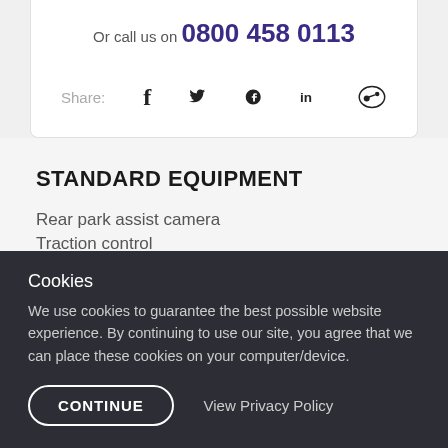Or call us on 0800 458 0113
Share: [facebook] [twitter] [linkedin] [social icon]
STANDARD EQUIPMENT
Rear park assist camera
Traction control
Real time traffic information
Cookies
We use cookies to guarantee the best possible website experience. By continuing to use our site, you agree that we can place these cookies on your computer/device.
CONTINUE   View Privacy Policy